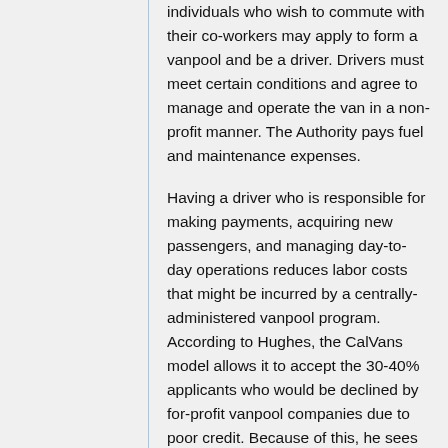individuals who wish to commute with their co-workers may apply to form a vanpool and be a driver. Drivers must meet certain conditions and agree to manage and operate the van in a non-profit manner. The Authority pays fuel and maintenance expenses.
Having a driver who is responsible for making payments, acquiring new passengers, and managing day-to-day operations reduces labor costs that might be incurred by a centrally-administered vanpool program. According to Hughes, the CalVans model allows it to accept the 30-40% applicants who would be declined by for-profit vanpool companies due to poor credit. Because of this, he sees the service as providing a lifeline to individuals who would not otherwise be able to access